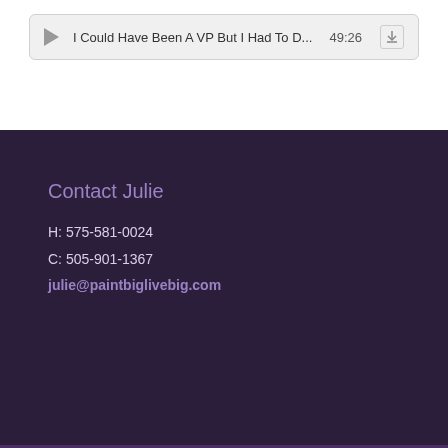[Figure (screenshot): Audio player bar showing a podcast/audio episode titled 'I Could Have Been A VP But I Had To D...' with timestamp 49:26 and a download button]
Contact Julie
H: 575-581-0024
C: 505-901-1367
julie@paintbiglivebig.com